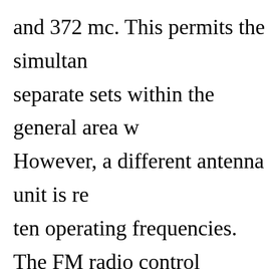and 372 mc. This permits the simultaneous use of separate sets within the general area w… However, a different antenna unit is re… ten operating frequencies. The FM radio control receiving equipm… permits ground-to-air or air-to-air con… of 18 miles. However, by the use of a… effective range may be stepped up to 7… selector incorporates an eight channel…